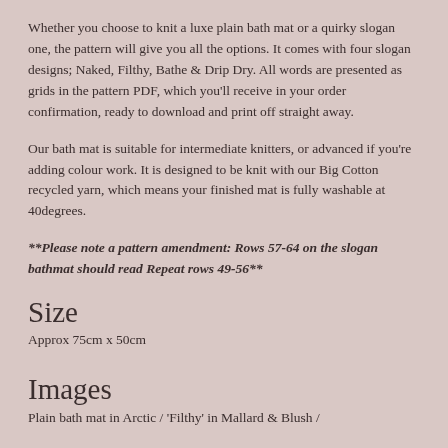Whether you choose to knit a luxe plain bath mat or a quirky slogan one, the pattern will give you all the options. It comes with four slogan designs; Naked, Filthy, Bathe & Drip Dry. All words are presented as grids in the pattern PDF, which you'll receive in your order confirmation, ready to download and print off straight away.
Our bath mat is suitable for intermediate knitters, or advanced if you're adding colour work. It is designed to be knit with our Big Cotton recycled yarn, which means your finished mat is fully washable at 40degrees.
**Please note a pattern amendment: Rows 57-64 on the slogan bathmat should read Repeat rows 49-56**
Size
Approx 75cm x 50cm
Images
Plain bath mat in Arctic / 'Filthy' in Mallard & Blush /